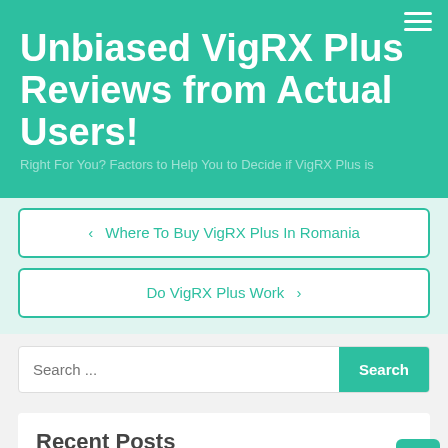Unbiased VigRX Plus Reviews from Actual Users!
Right For You? Factors to Help You to Decide if VigRX Plus is
< Where To Buy VigRX Plus In Romania
Do VigRX Plus Work >
Search ...
Recent Posts